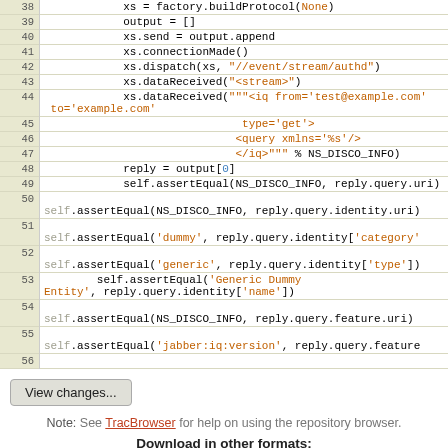[Figure (screenshot): Code viewer showing Python source lines 38-56 with line numbers in a beige gutter and syntax-highlighted code]
View changes...
Note: See TracBrowser for help on using the repository browser.
Download in other formats:
Plain Text | Original Format